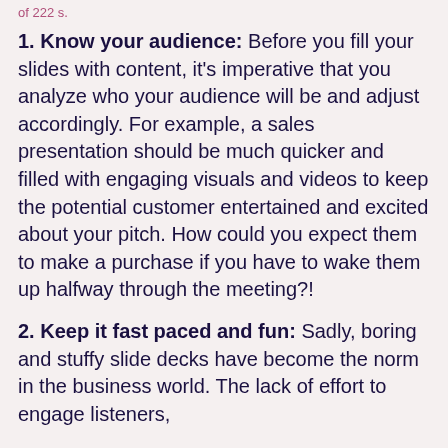of 222 s.
1. Know your audience: Before you fill your slides with content, it's imperative that you analyze who your audience will be and adjust accordingly. For example, a sales presentation should be much quicker and filled with engaging visuals and videos to keep the potential customer entertained and excited about your pitch. How could you expect them to make a purchase if you have to wake them up halfway through the meeting?!
2. Keep it fast paced and fun: Sadly, boring and stuffy slide decks have become the norm in the business world. The lack of effort to engage listeners,